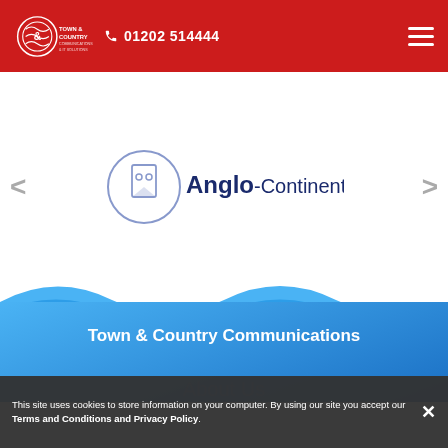Town & Country Communications | 01202 514444
[Figure (logo): Anglo-Continental logo with circular owl emblem and company name]
Town & Country Communications
About Us
This site uses cookies to store information on your computer. By using our site you accept our Terms and Conditions and Privacy Policy.